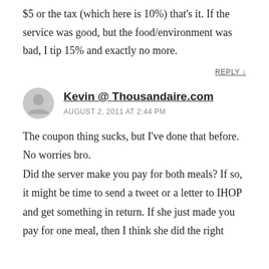if the service was really bad, I will tip the lesser of $5 or the tax (which here is 10%) that's it. If the service was good, but the food/environment was bad, I tip 15% and exactly no more.
REPLY ↓
Kevin @ Thousandaire.com
AUGUST 2, 2011 AT 2:44 PM
The coupon thing sucks, but I've done that before. No worries bro.
Did the server make you pay for both meals? If so, it might be time to send a tweet or a letter to IHOP and get something in return. If she just made you pay for one meal, then I think she did the right